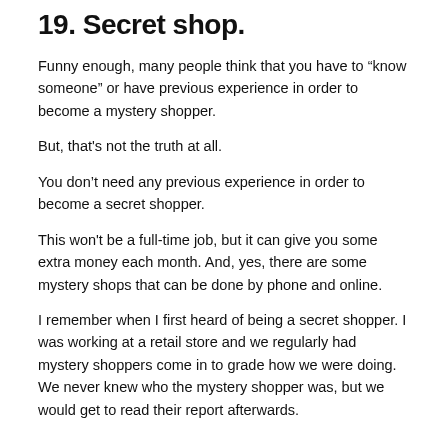19. Secret shop.
Funny enough, many people think that you have to “know someone” or have previous experience in order to become a mystery shopper.
But, that's not the truth at all.
You don’t need any previous experience in order to become a secret shopper.
This won't be a full-time job, but it can give you some extra money each month. And, yes, there are some mystery shops that can be done by phone and online.
I remember when I first heard of being a secret shopper. I was working at a retail store and we regularly had mystery shoppers come in to grade how we were doing. We never knew who the mystery shopper was, but we would get to read their report afterwards.